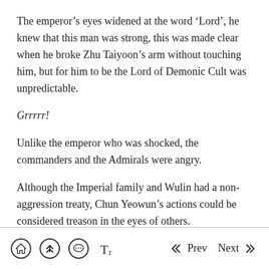The emperor’s eyes widened at the word ‘Lord’, he knew that this man was strong, this was made clear when he broke Zhu Taiyoon’s arm without touching him, but for him to be the Lord of Demonic Cult was unpredictable.
Grrrrr!
Unlike the emperor who was shocked, the commanders and the Admirals were angry.
Although the Imperial family and Wulin had a non-aggression treaty, Chun Yeowun’s actions could be considered treason in the eyes of others.
Bang! Kwakwa!
Home | Up | Chat | Text | Prev | Next